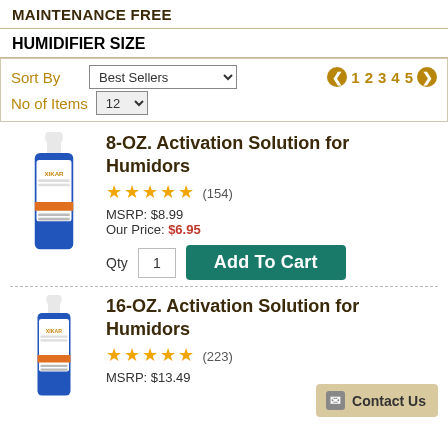MAINTENANCE FREE
HUMIDIFIER SIZE
Sort By Best Sellers | No of Items 12 | Pagination: 1 2 3 4 5
8-OZ. Activation Solution for Humidors
★★★★★ (154) MSRP: $8.99 Our Price: $6.95
Qty 1 Add To Cart
16-OZ. Activation Solution for Humidors
★★★★★ (223) MSRP: $13.49
Contact Us